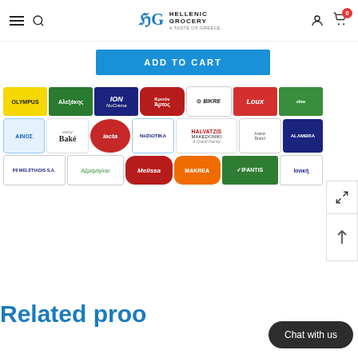Hellenic Grocery – A Taste of Greece
ADD TO CART
[Figure (logo): Grid of Greek grocery brand logos: Olympus, Alexakis, ION NuCrèma, Kriton Artos, Bikre, Loux, row2: Ainos, Easy Bake, Lacta, Nhsiotika, Halvatzis Makedoniki, Arabic brand, Alambra, row3: Meletiadis S.A., Avramoglou, Melissa, Makrea, Ifantis, Ioniki]
Related proo
Chat with us